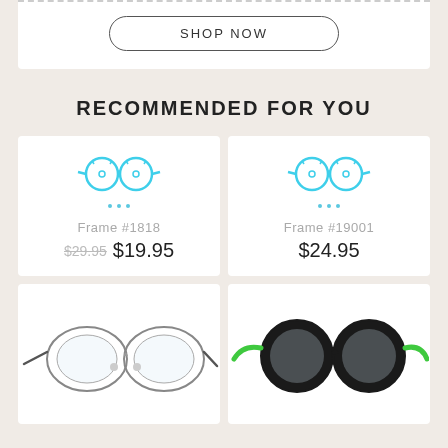[Figure (other): Shop Now button with dotted line separator at top]
RECOMMENDED FOR YOU
[Figure (illustration): Product card: Frame #1818 with blue glasses icon, old price $29.95 crossed out, new price $19.95]
[Figure (illustration): Product card: Frame #19001 with blue glasses icon, price $24.95]
[Figure (photo): Round wire-frame glasses, silver/dark, viewed from front-top]
[Figure (photo): Round black glasses with bright green temples, viewed from front-top]